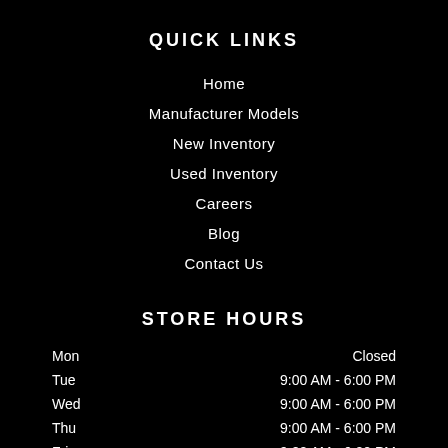QUICK LINKS
Home
Manufacturer Models
New Inventory
Used Inventory
Careers
Blog
Contact Us
STORE HOURS
| Day | Hours |
| --- | --- |
| Mon | Closed |
| Tue | 9:00 AM - 6:00 PM |
| Wed | 9:00 AM - 6:00 PM |
| Thu | 9:00 AM - 6:00 PM |
| Fri | 9:00 AM - 6:00 PM |
| Sat | 9:00 AM - 5:00 PM |
| Sun | Closed |